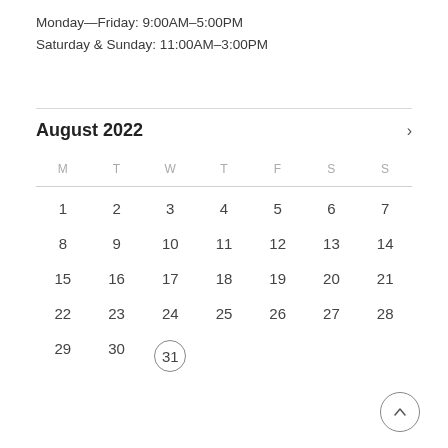Monday—Friday: 9:00AM–5:00PM
Saturday & Sunday: 11:00AM–3:00PM
August 2022
| M | T | W | T | F | S | S |
| --- | --- | --- | --- | --- | --- | --- |
| 1 | 2 | 3 | 4 | 5 | 6 | 7 |
| 8 | 9 | 10 | 11 | 12 | 13 | 14 |
| 15 | 16 | 17 | 18 | 19 | 20 | 21 |
| 22 | 23 | 24 | 25 | 26 | 27 | 28 |
| 29 | 30 | 31 |  |  |  |  |